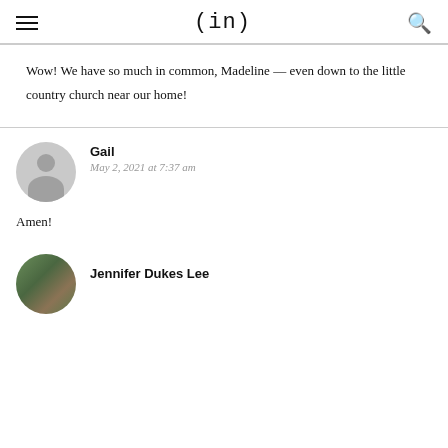(in)
Wow! We have so much in common, Madeline — even down to the little country church near our home!
Gail
May 2, 2021 at 7:37 am
Amen!
Jennifer Dukes Lee